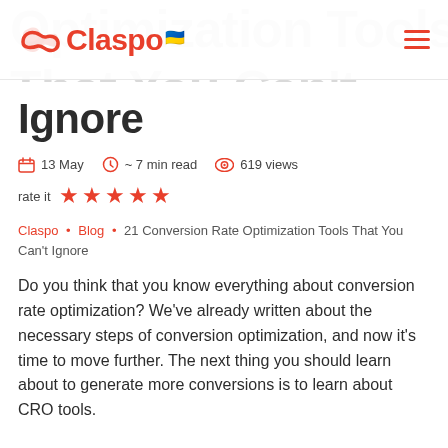Claspo (logo) — navigation header
Ignore
13 May  ~ 7 min read  619 views
rate it ★★★★★
Claspo · Blog · 21 Conversion Rate Optimization Tools That You Can't Ignore
Do you think that you know everything about conversion rate optimization? We've already written about the necessary steps of conversion optimization, and now it's time to move further. The next thing you should learn about to generate more conversions is to learn about CRO tools.